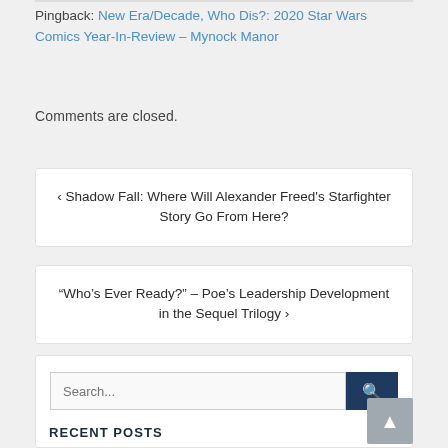Pingback: New Era/Decade, Who Dis?: 2020 Star Wars Comics Year-In-Review – Mynock Manor
Comments are closed.
‹ Shadow Fall: Where Will Alexander Freed's Starfighter Story Go From Here?
“Who’s Ever Ready?” – Poe’s Leadership Development in the Sequel Trilogy ›
Search...
RECENT POSTS